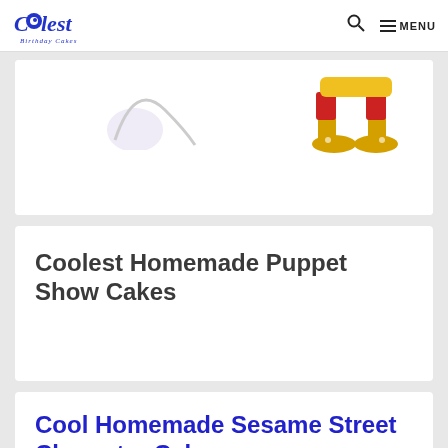Coolest Birthday Cakes — MENU
[Figure (illustration): Partial image showing cartoon character feet/shoes (colorful red/yellow character feet) against a white background, top of a cake listing card]
Coolest Homemade Puppet Show Cakes
Cool Homemade Sesame Street Character Cakes